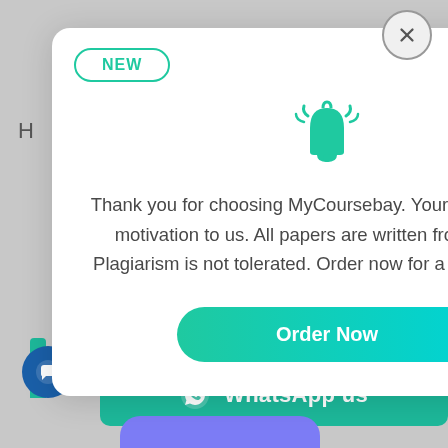[Figure (screenshot): Modal popup with NEW badge, bell icon, promotional message, and Order Now button on a website]
NEW
Thank you for choosing MyCoursebay. Your presence is a motivation to us. All papers are written from scratch. Plagiarism is not tolerated. Order now for a 15% discount
Order Now
WhatsApp us